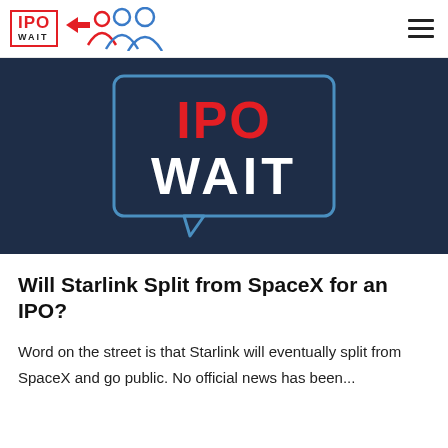IPO WAIT
[Figure (logo): IPO WAIT logo banner on dark navy background with speech bubble graphic containing 'IPO WAIT' text in red and white]
Will Starlink Split from SpaceX for an IPO?
Word on the street is that Starlink will eventually split from SpaceX and go public. No official news has been...